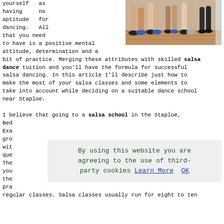[Figure (photo): Photo of people dancing in a studio, showing their legs and feet on a wooden floor]
yourself as having no aptitude for dancing. All that you need to have is a positive mental attitude, determination and a bit of practice. Merging these attributes with skilled salsa dance tuition and you'll have the formula for successful salsa dancing. In this article I'll describe just how to make the most of your salsa classes and some elements to take into account while deciding on a suitable dance school near Staploe.
I believe that going to a salsa school in the Staploe, Bed... Exa... gro... wit... que... The... you... the... pra... regular classes. Salsa classes usually run for eight to ten
By using this website you are agreeing to the use of third-party cookies Learn More OK